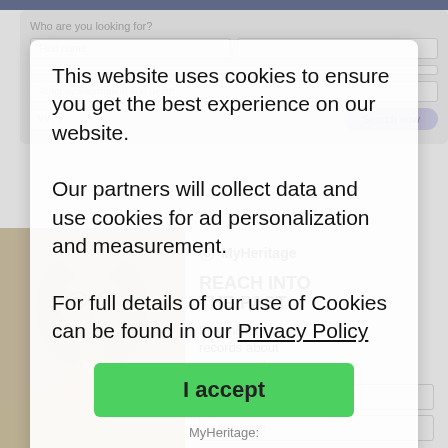[Figure (screenshot): Cookie consent overlay on a MyHeritage genealogy website. The overlay shows a semi-transparent modal with cookie consent text and an 'I accept' green button. Behind it is a search form and a MyHeritage advertisement featuring a vintage sepia photo of an elderly woman with glasses and text 'REACH INTO THE PAST / Find historical records about your ancestors' with First name and Last name input fields.]
This website uses cookies to ensure you get the best experience on our website.
Our partners will collect data and use cookies for ad personalization and measurement.
For full details of our use of Cookies can be found in our Privacy Policy
I accept
MyHeritage:
REACH INTO THE PAST
Find historical records about your ancestors